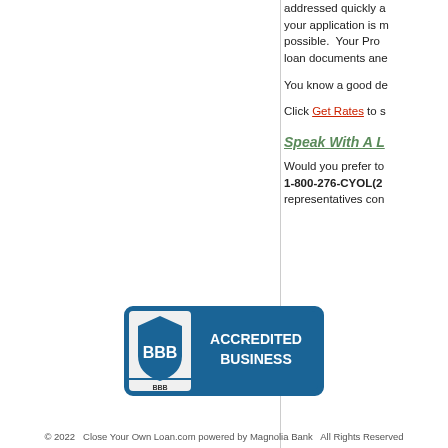addressed quickly a your application is m possible. Your Proc loan documents ane
You know a good de
Click Get Rates to s
Speak With A L
Would you prefer to 1-800-276-CYOL(2 representatives con
[Figure (logo): BBB Accredited Business badge with blue background and white text]
© 2022  Close Your Own Loan.com powered by Magnolia Bank   All Rights Reserved